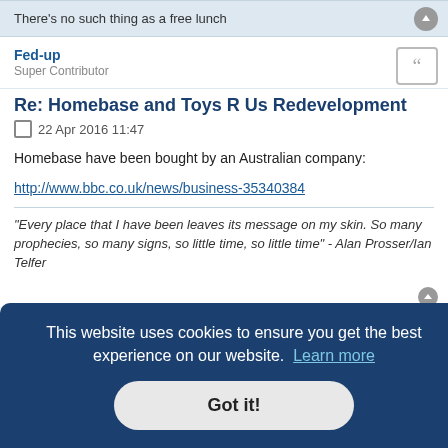There's no such thing as a free lunch
Fed-up
Super Contributor
Re: Homebase and Toys R Us Redevelopment
22 Apr 2016 11:47
Homebase have been bought by an Australian company:
http://www.bbc.co.uk/news/business-35340384
"Every place that I have been leaves its message on my skin. So many prophecies, so many signs, so little time, so little time" - Alan Prosser/Ian Telfer
This website uses cookies to ensure you get the best experience on our website.  Learn more
Got it!
an style of Condo's instead of this unremitting high rise ? My friend just outside Dartington is now close to